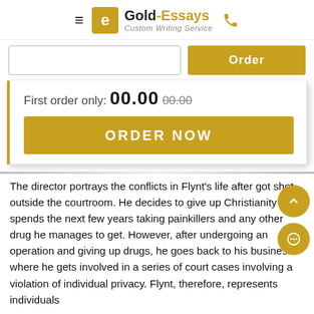[Figure (logo): Gold-Essays Custom Writing Service logo with hamburger menu icon and phone icon]
[Figure (screenshot): Search input field and Order button row]
First order only: 00.00 00.00
[Figure (screenshot): ORDER NOW button in gold/yellow color]
The director portrays the conflicts in Flynt's life after got shot outside the courtroom. He decides to give up Christianity and spends the next few years taking painkillers and any other drug he manages to get. However, after undergoing an operation and giving up drugs, he goes back to his business where he gets involved in a series of court cases involving a violation of individual privacy. Flynt, therefore, represents individuals